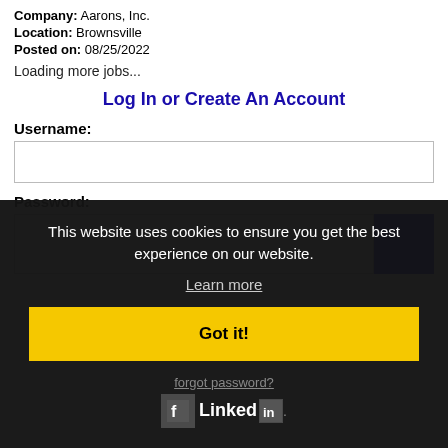Company: Aarons, Inc.
Location: Brownsville
Posted on: 08/25/2022
Loading more jobs...
Log In or Create An Account
Username:
Password:
This website uses cookies to ensure you get the best experience on our website.
Learn more
Got it!
forgot password?
[Figure (logo): LinkedIn logo with icon box and Linked text followed by In box]